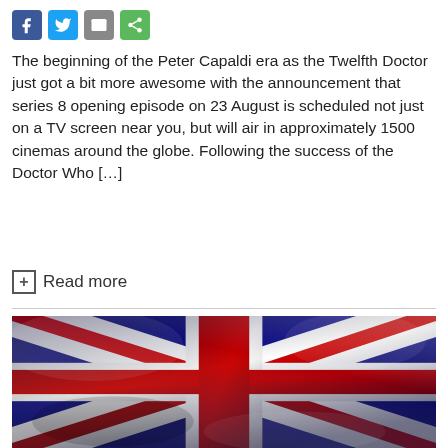[Figure (other): Social media sharing icons: Facebook (blue), Twitter (blue), Email (grey), Share (green)]
The beginning of the Peter Capaldi era as the Twelfth Doctor just got a bit more awesome with the announcement that series 8 opening episode on 23 August is scheduled not just on a TV screen near you, but will air in approximately 1500 cinemas around the globe. Following the success of the Doctor Who […]
+ Read more
[Figure (photo): A Union Jack (United Kingdom flag) draped with fabric folds, showing red, white, and blue colors in dramatic lighting.]